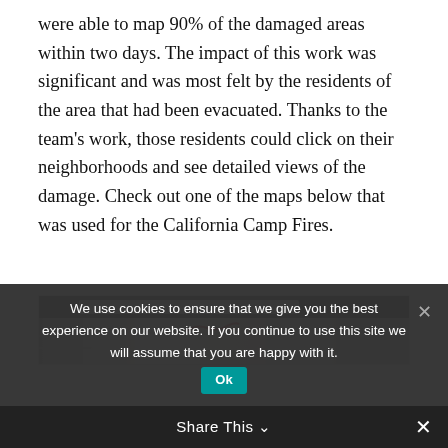were able to map 90% of the damaged areas within two days. The impact of this work was significant and was most felt by the residents of the area that had been evacuated. Thanks to the team's work, those residents could click on their neighborhoods and see detailed views of the damage. Check out one of the maps below that was used for the California Camp Fires.
[Figure (screenshot): Partial screenshot of a map interface showing the California Camp Fires damage map, with a toolbar at top and map imagery below.]
We use cookies to ensure that we give you the best experience on our website. If you continue to use this site we will assume that you are happy with it.
Share This